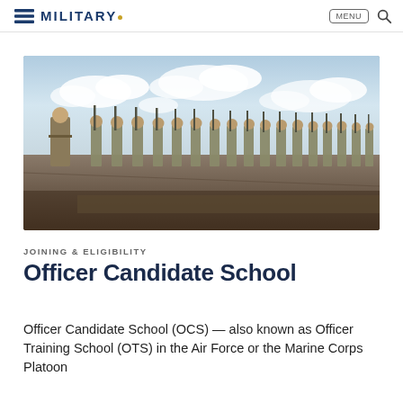MILITARY.
[Figure (photo): Military personnel in camouflage uniforms standing in formation holding rifles, with an officer inspecting them on a parade ground under a cloudy blue sky.]
JOINING & ELIGIBILITY
Officer Candidate School
Officer Candidate School (OCS) — also known as Officer Training School (OTS) in the Air Force or the Marine Corps Platoon...